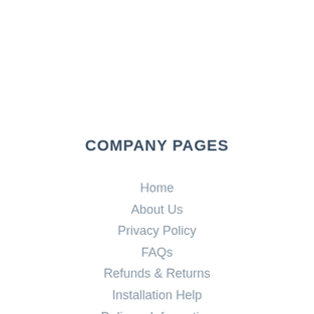COMPANY PAGES
Home
About Us
Privacy Policy
FAQs
Refunds & Returns
Installation Help
Delivery Information
Bulk Discounts
Terms & Conditions
Contact